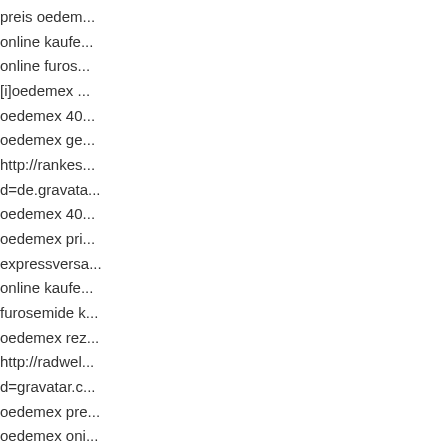preis oedem...
online kaufe...
online furos...
[i]oedemex ...
oedemex 40...
oedemex ge...
http://rankes...
d=de.gravata...
oedemex 40...
oedemex pri...
expressversa...
online kaufe...
furosemide k...
oedemex rez...
http://radwel...
d=gravatar.c...
oedemex pre...
oedemex oni...
oedemex ge...
preisvergleic...
http://lc4.bla...
oedemex ho...